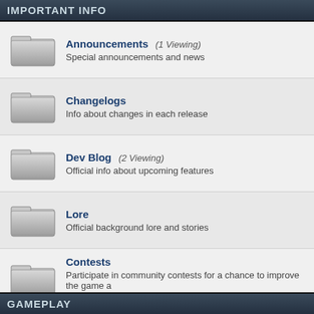IMPORTANT INFO
Announcements (1 Viewing) - Special announcements and news
Changelogs - Info about changes in each release
Dev Blog (2 Viewing) - Official info about upcoming features
Lore - Official background lore and stories
Contests - Participate in community contests for a chance to improve the game and eternal fame and glory!
Streams and Videos - View the previous live streams and videos
GAMEPLAY